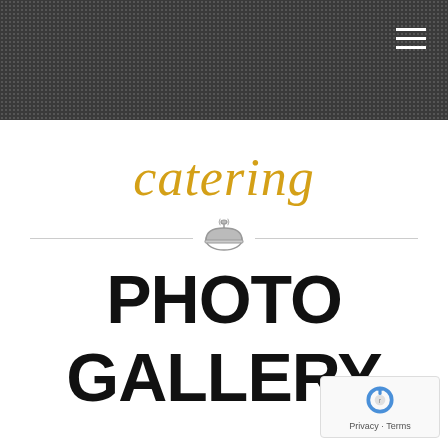catering
[Figure (logo): Catering website header with dark textured background and hamburger menu icon]
catering
[Figure (illustration): Cloche/serving dish icon with horizontal divider lines on either side]
PHOTO GALLERY
[Figure (other): Google reCAPTCHA badge with Privacy and Terms links]